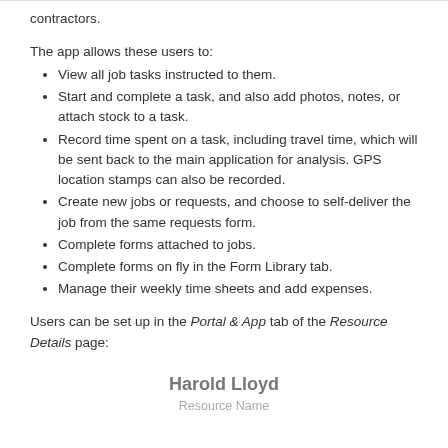contractors.
The app allows these users to:
View all job tasks instructed to them.
Start and complete a task, and also add photos, notes, or attach stock to a task.
Record time spent on a task, including travel time, which will be sent back to the main application for analysis. GPS location stamps can also be recorded.
Create new jobs or requests, and choose to self-deliver the job from the same requests form.
Complete forms attached to jobs.
Complete forms on fly in the Form Library tab.
Manage their weekly time sheets and add expenses.
Users can be set up in the Portal & App tab of the Resource Details page:
[Figure (screenshot): Screenshot showing a Resource Details page with Harold Lloyd as the Resource Name]